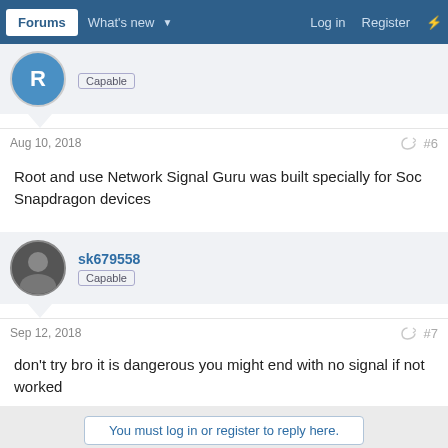Forums  What's new  Log in  Register
Capable
Aug 10, 2018  #6
Root and use Network Signal Guru was built specially for Soc Snapdragon devices
sk679558  Capable
Sep 12, 2018  #7
don't try bro it is dangerous you might end with no signal if not worked
You must log in or register to reply here.
Similar threads